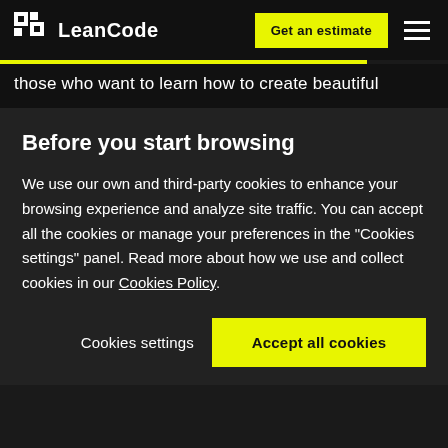[Figure (logo): LeanCode logo with pixelated square icon and wordmark on dark background]
Get an estimate
those who want to learn how to create beautiful
Before you start browsing
We use our own and third-party cookies to enhance your browsing experience and analyze site traffic. You can accept all the cookies or manage your preferences in the "Cookies settings" panel. Read more about how we use and collect cookies in our Cookies Policy.
Cookies settings
Accept all cookies